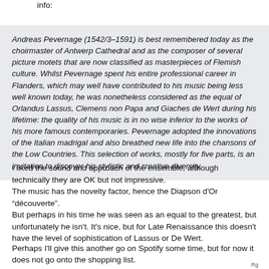info:
Andreas Pevernage (1542/3–1591) is best remembered today as the choirmaster of Antwerp Cathedral and as the composer of several picture motets that are now classified as masterpieces of Flemish culture. Whilst Pevernage spent his entire professional career in Flanders, which may well have contributed to his music being less well known today, he was nonetheless considered as the equal of Orlandus Lassus, Clemens non Papa and Giaches de Wert during his lifetime: the quality of his music is in no wise inferior to the works of his more famous contemporaries. Pevernage adopted the innovations of the Italian madrigal and also breathed new life into the chansons of the Low Countries. This selection of works, mostly for five parts, is an invitation to discover his stylistic and creative diversity.
I liked the sound and approach of the ensemble, although technically they are OK but not impressive.
The music has the novelty factor, hence the Diapson d'Or "découverte".
But perhaps in his time he was seen as an equal to the greatest, but unfortunately he isn't. It's nice, but for Late Renaissance this doesn't have the level of sophistication of Lassus or De Wert.
Perhaps I'll give this another go on Spotify some time, but for now it does not go onto the shopping list.
Rg